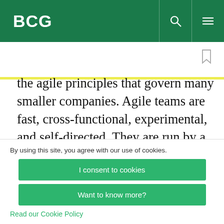BCG
the agile principles that govern many smaller companies. Agile teams are fast, cross-functional, experimental, and self-directed. They are run by a product “owner,” who is in charge of ensuring that the consumer remains at the center of key decisions. The teams practice “test-and-learn”
By using this site, you agree with our use of cookies.
I consent to cookies
Want to know more?
Read our Cookie Policy